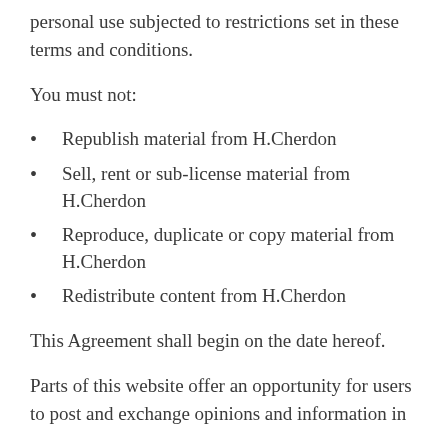personal use subjected to restrictions set in these terms and conditions.
You must not:
Republish material from H.Cherdon
Sell, rent or sub-license material from H.Cherdon
Reproduce, duplicate or copy material from H.Cherdon
Redistribute content from H.Cherdon
This Agreement shall begin on the date hereof.
Parts of this website offer an opportunity for users to post and exchange opinions and information in